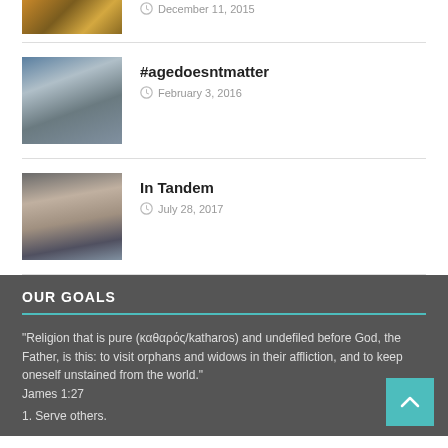[Figure (photo): Autumn/fall scene thumbnail (partial, top of page)]
December 11, 2015
[Figure (photo): Person in wheelchair on street]
#agedoesntmatter
February 3, 2016
[Figure (photo): People walking side by side, lower bodies visible]
In Tandem
July 28, 2017
OUR GOALS
"Religion that is pure (καθαρός/katharos) and undefiled before God, the Father, is this: to visit orphans and widows in their affliction, and to keep oneself unstained from the world." James 1:27
1. Serve others.